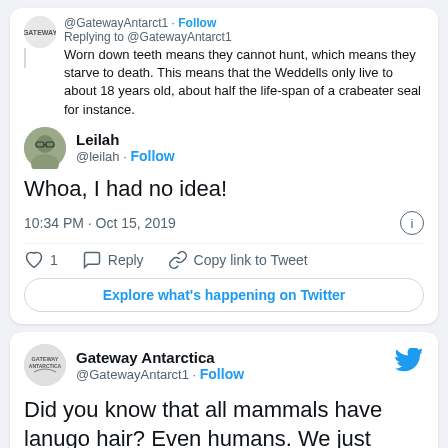@GatewayAntarct1 · Follow
Replying to @GatewayAntarct1
Worn down teeth means they cannot hunt, which means they starve to death. This means that the Weddells only live to about 18 years old, about half the life-span of a crabeater seal for instance.
[Figure (photo): Profile photo of Leilah, a woman with glasses]
Leilah
@leilah · Follow
Whoa, I had no idea!
10:34 PM · Oct 15, 2019
♡ 1   Reply   Copy link to Tweet
Explore what's happening on Twitter
[Figure (logo): Gateway Antarctica logo]
Gateway Antarctica
@GatewayAntarct1 · Follow
Did you know that all mammals have lanugo hair? Even humans. We just shed ours in